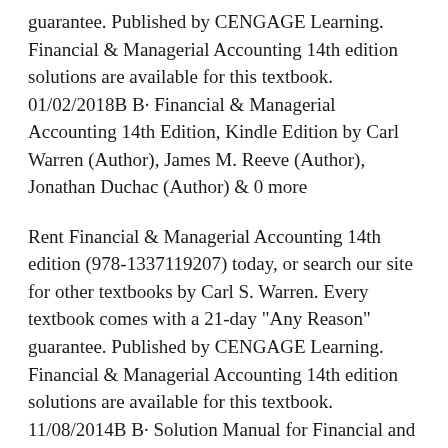guarantee. Published by CENGAGE Learning. Financial & Managerial Accounting 14th edition solutions are available for this textbook. 01/02/2018B B· Financial & Managerial Accounting 14th Edition, Kindle Edition by Carl Warren (Author), James M. Reeve (Author), Jonathan Duchac (Author) & 0 more
Rent Financial & Managerial Accounting 14th edition (978-1337119207) today, or search our site for other textbooks by Carl S. Warren. Every textbook comes with a 21-day "Any Reason" guarantee. Published by CENGAGE Learning. Financial & Managerial Accounting 14th edition solutions are available for this textbook. 11/08/2014B B· Solution Manual for Financial and Managerial Accounting, 11th Edition, Carl S.